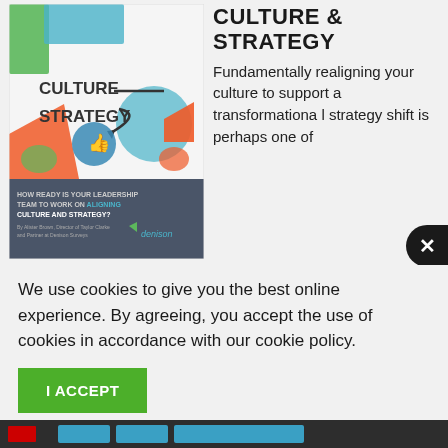[Figure (illustration): Book cover for 'Culture & Strategy' report by Denison. Features colorful illustrated icons, people collaborating, arrows between 'Culture' and 'Strategy'. Lower section reads: 'HOW READY IS YOUR LEADERSHIP TEAM TO WORK ON ALIGNING CULTURE AND STRATEGY?' with Denison logo.]
CULTURE & STRATEGY
Fundamentally realigning your culture to support a transformational strategy shift is perhaps one of
We use cookies to give you the best online experience. By agreeing, you accept the use of cookies in accordance with our cookie policy.
I ACCEPT
Centro de Privacidad  Cookie Policy